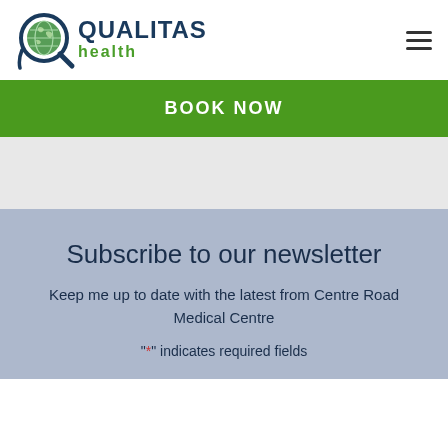[Figure (logo): Qualitas Health logo with globe icon, dark navy text QUALITAS and green text health]
BOOK NOW
Subscribe to our newsletter
Keep me up to date with the latest from Centre Road Medical Centre
"*" indicates required fields